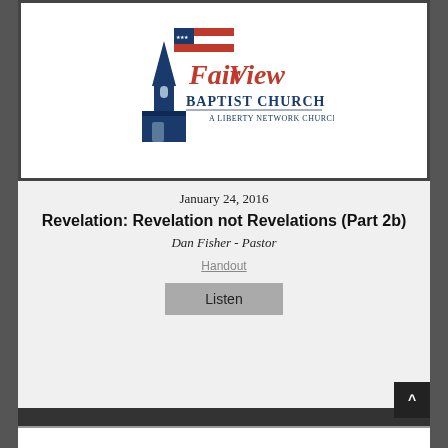[Figure (logo): FairView Baptist Church logo with church steeple and American flag, red cursive FairView text, dark blue Baptist Church text, and A Liberty Network Church subtitle]
January 24, 2016
Revelation: Revelation not Revelations (Part 2b)
Dan Fisher - Pastor
Handout
Listen